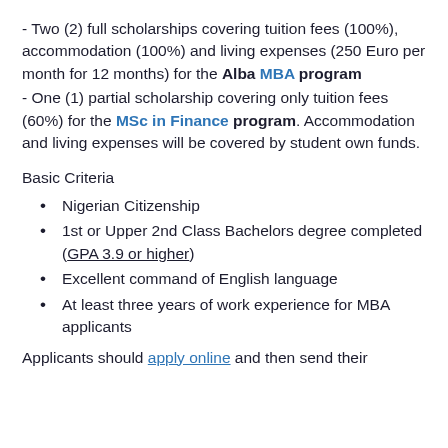- Two (2) full scholarships covering tuition fees (100%), accommodation (100%) and living expenses (250 Euro per month for 12 months) for the Alba MBA program
- One (1) partial scholarship covering only tuition fees (60%) for the MSc in Finance program. Accommodation and living expenses will be covered by student own funds.
Basic Criteria
Nigerian Citizenship
1st or Upper 2nd Class Bachelors degree completed (GPA 3.9 or higher)
Excellent command of English language
At least three years of work experience for MBA applicants
Applicants should apply online and then send their